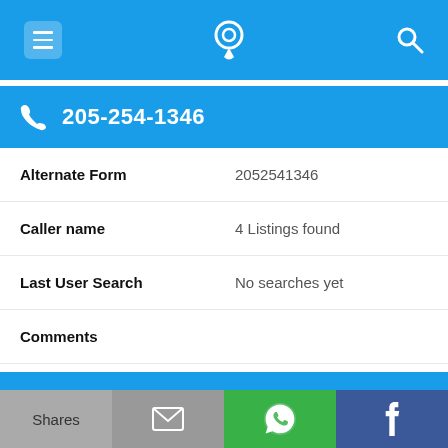Navigation bar with hamburger menu, phone-pin logo, and search icon
205-254-1346
| Field | Value |
| --- | --- |
| Alternate Form | 2052541346 |
| Caller name | 4 Listings found |
| Last User Search | No searches yet |
| Comments |  |
205-254-1356
Alternate Form   2052541356
Shares | Email | WhatsApp | Facebook